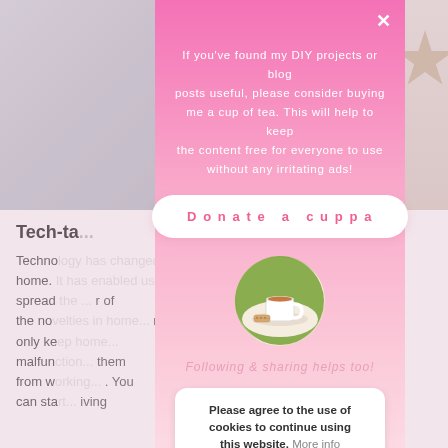[Figure (screenshot): Background webpage showing a DIY/home blog with a heading 'Tech-ta...' and body text about technology and home, partially obscured by modal overlay]
[Figure (illustration): Pink gradient modal overlay dialog with a close X button, donation request text, 'Donate a cuppa' button, circular photo of a cup of tea with biscuits, italic text 'Following & sharing helps too!', and a cookie consent box with Accept button]
If you've found my DIY projects or blog posts useful, please consider buying me a cup of tea. This will help to keep the content free for everyone to use without any irritating ads!
Donate a cuppa
Following & sharing helps too!
Please agree to the use of cookies to continue using this website. More info
Accept
Tech-ta...
Techno... home. spread... r of the no... not only ke... malfun... them from w... You can sta... iving